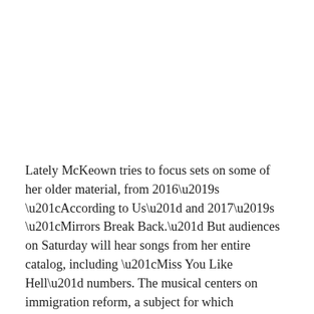Lately McKeown tries to focus sets on some of her older material, from 2016’s “According to Us” and 2017’s “Mirrors Break Back.” But audiences on Saturday will hear songs from her entire catalog, including “Miss You Like Hell” numbers. The musical centers on immigration reform, a subject for which McKeown cares deeply.
“I like to surprise myself and keep myself moving